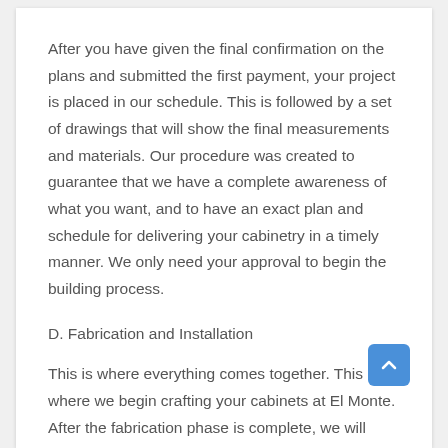After you have given the final confirmation on the plans and submitted the first payment, your project is placed in our schedule. This is followed by a set of drawings that will show the final measurements and materials. Our procedure was created to guarantee that we have a complete awareness of what you want, and to have an exact plan and schedule for delivering your cabinetry in a timely manner. We only need your approval to begin the building process.
D. Fabrication and Installation
This is where everything comes together. This is where we begin crafting your cabinets at El Monte. After the fabrication phase is complete, we will transport everything onto your property for final installation. After the completion of the installation process, you